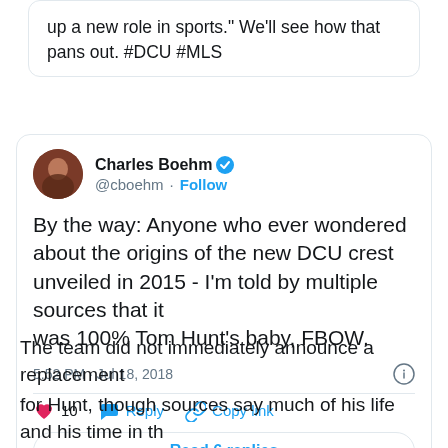up a new role in sports." We'll see how that pans out. #DCU #MLS
Charles Boehm @cboehm · Follow
By the way: Anyone who ever wondered about the origins of the new DCU crest unveiled in 2015 - I'm told by multiple sources that it was 100% Tom Hunt's baby, FBOW.
5:52 PM · Jul 18, 2018
10  Reply  Copy link
Read 6 replies
The team did not immediately announce a replacement for Hunt, though sources say much of his life and his time in the